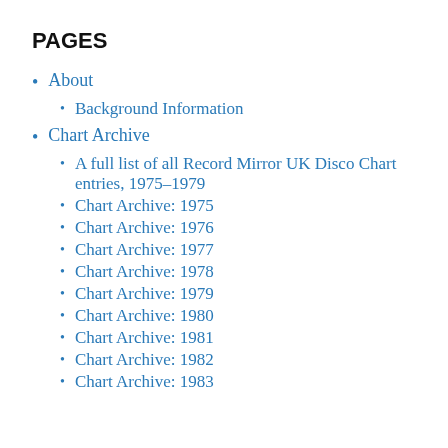PAGES
About
Background Information
Chart Archive
A full list of all Record Mirror UK Disco Chart entries, 1975–1979
Chart Archive: 1975
Chart Archive: 1976
Chart Archive: 1977
Chart Archive: 1978
Chart Archive: 1979
Chart Archive: 1980
Chart Archive: 1981
Chart Archive: 1982
Chart Archive: 1983